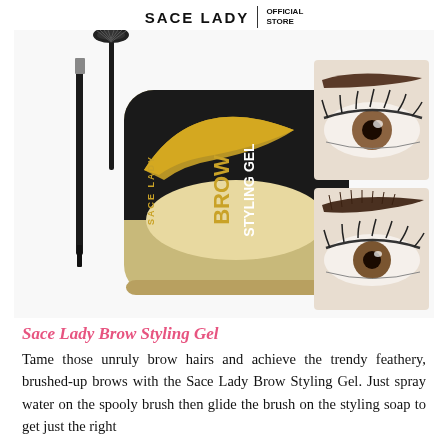SACE LADY | OFFICIAL STORE
[Figure (photo): Product photo of Sace Lady Brow Styling Gel showing the compact tin container with brow-shaped design, a spooly brush tool, and before/after eye close-up photos showing styled eyebrows.]
Sace Lady Brow Styling Gel
Tame those unruly brow hairs and achieve the trendy feathery, brushed-up brows with the Sace Lady Brow Styling Gel. Just spray water on the spooly brush then glide the brush on the styling soap to get just the right